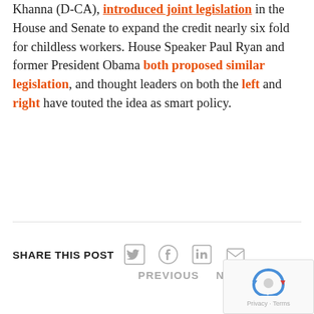Khanna (D-CA), introduced joint legislation in the House and Senate to expand the credit nearly six fold for childless workers. House Speaker Paul Ryan and former President Obama both proposed similar legislation, and thought leaders on both the left and right have touted the idea as smart policy.
SHARE THIS POST
[Figure (other): Social share icons: Twitter, Facebook, LinkedIn, Email]
PREVIOUS   NEXT
[Figure (other): reCAPTCHA widget with Privacy and Terms links]